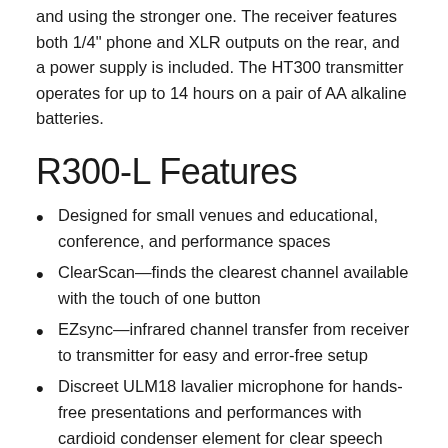and using the stronger one. The receiver features both 1/4" phone and XLR outputs on the rear, and a power supply is included. The HT300 transmitter operates for up to 14 hours on a pair of AA alkaline batteries.
R300-L Features
Designed for small venues and educational, conference, and performance spaces
ClearScan—finds the clearest channel available with the touch of one button
EZsync—infrared channel transfer from receiver to transmitter for easy and error-free setup
Discreet ULM18 lavalier microphone for hands-free presentations and performances with cardioid condenser element for clear speech and vocals with less background sound
Rugged metal bodypack transmitter with Mute/On/Off switch, backlit LCD display, and